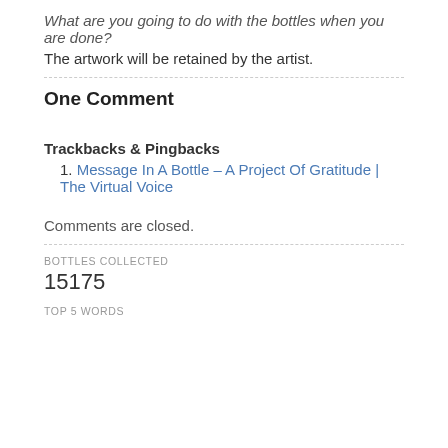What are you going to do with the bottles when you are done?
The artwork will be retained by the artist.
One Comment
Trackbacks & Pingbacks
1. Message In A Bottle – A Project Of Gratitude | The Virtual Voice
Comments are closed.
BOTTLES COLLECTED
15175
TOP 5 WORDS